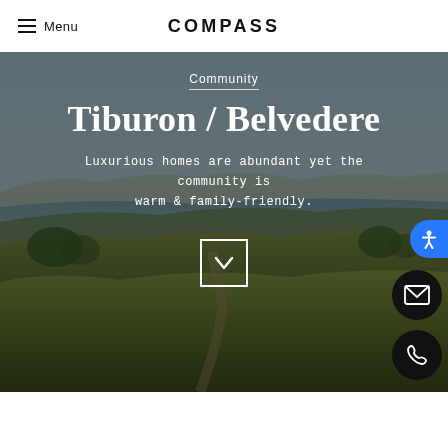Menu | COMPASS
[Figure (photo): Aerial scenic landscape photo of Tiburon/Belvedere community with rolling green hills, a hiking path, and a bay/city view in the background, used as a hero image background.]
Community
Tiburon / Belvedere
Luxurious homes are abundant yet the community is warm & family-friendly.